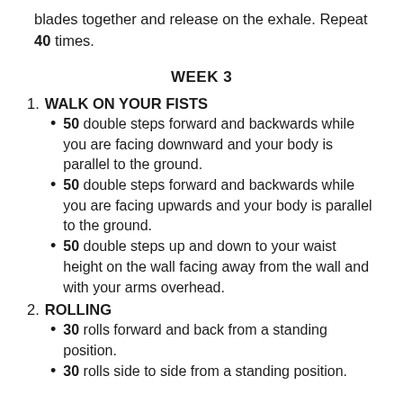blades together and release on the exhale. Repeat 40 times.
WEEK 3
WALK ON YOUR FISTS
50 double steps forward and backwards while you are facing downward and your body is parallel to the ground.
50 double steps forward and backwards while you are facing upwards and your body is parallel to the ground.
50 double steps up and down to your waist height on the wall facing away from the wall and with your arms overhead.
ROLLING
30 rolls forward and back from a standing position.
30 rolls side to side from a standing position.